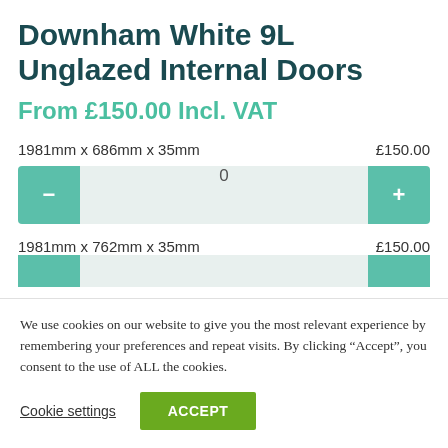Downham White 9L Unglazed Internal Doors
From £150.00 Incl. VAT
1981mm x 686mm x 35mm   £150.00
1981mm x 762mm x 35mm   £150.00
We use cookies on our website to give you the most relevant experience by remembering your preferences and repeat visits. By clicking "Accept", you consent to the use of ALL the cookies.
Cookie settings
ACCEPT